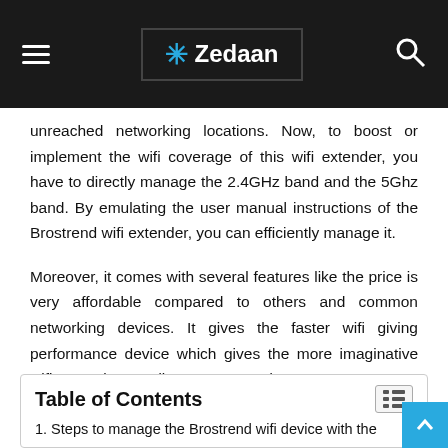Zedaan
unreached networking locations. Now, to boost or implement the wifi coverage of this wifi extender, you have to directly manage the 2.4GHz band and the 5Ghz band. By emulating the user manual instructions of the Brostrend wifi extender, you can efficiently manage it.
Moreover, it comes with several features like the price is very affordable compared to others and common networking devices. It gives the faster wifi giving performance device which gives the more imaginative wifi network according to your need.
| Table of Contents |
| --- |
| 1. Steps to manage the Brostrend wifi device with the |